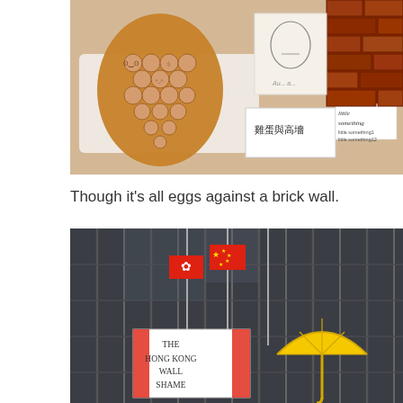[Figure (photo): Photo of egg-shaped waffle cookies arranged in a cone shape on a white tray, next to cards/sketches including Chinese text '雞蛋與高墻' (eggs and brick wall) and handwritten 'little something' labels, with a painted brick wall illustration on the right.]
Though it’s all eggs against a brick wall.
[Figure (photo): Photo of a modern glass building exterior with flags including a red Chinese national flag and Hong Kong flag. In the foreground is a white sign reading 'THE HONG KONG WALL SHAME' and a yellow umbrella (symbol of Hong Kong protests).]